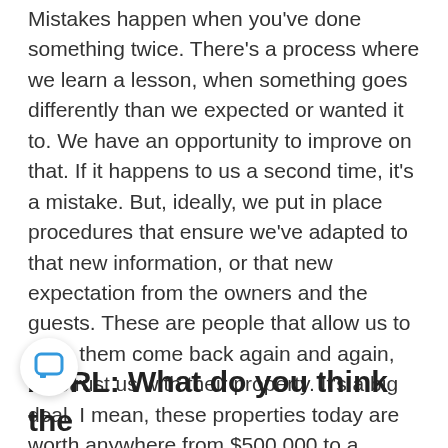Mistakes happen when you've done something twice. There's a process where we learn a lesson, when something goes differently than we expected or wanted it to. We have an opportunity to improve on that. If it happens to us a second time, it's a mistake. But, ideally, we put in place procedures that ensure we've adapted to that new information, or that new expectation from the owners and the guests. These are people that allow us to have them come back again and again, and trust us with their property. It's a big deal. I mean, these properties today are worth anywhere from $500,000 to a million plus dollars, and they're not here. They need somebody they can trust to take care of their property; and we want to be that company.
ASRL: What do you think the